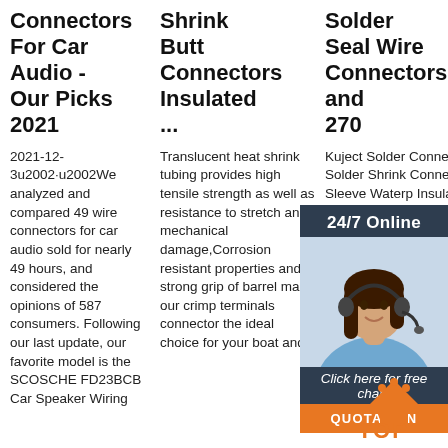ConnectorsShrink Butt Connectors Insulated ...
For Car Audio - Our Picks 2021
Solder Seal Wire Connectors, and 270
2021-12-3u2002·u2002We analyzed and compared 49 wire connectors for car audio sold for nearly 49 hours, and considered the opinions of 587 consumers. Following our last update, our favorite model is the SCOSCHE FD23BCB Car Speaker Wiring
Translucent heat shrink tubing provides high tensile strength as well as resistance to stretch and mechanical damage,Corrosion resistant properties and strong grip of barrel make our crimp terminals connector the ideal choice for your boat and
Kuject Solder Conne Solder Shrink Conne Sleeve Waterp Insulat Electrical Butt Splice Wire Terminals for Marine Automotive Boat Truck Wire Joint 4.6 out of 5 stars
[Figure (photo): Customer service agent photo with 24/7 Online label and chat button overlay on dark blue sidebar]
[Figure (logo): TOP logo with orange triangle/house icon and orange text TOP]